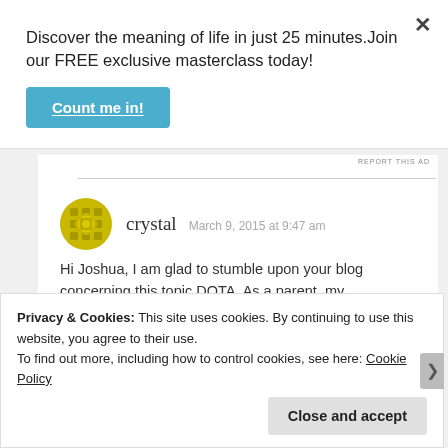Discover the meaning of life in just 25 minutes.Join our FREE exclusive masterclass today!
Count me in!
REPORT THIS AD
crystal  March 9, 2015 at 9:47 am
Hi Joshua, I am glad to stumble upon your blog concerning this topic DOTA. As a parent, my
Privacy & Cookies: This site uses cookies. By continuing to use this website, you agree to their use.
To find out more, including how to control cookies, see here: Cookie Policy
Close and accept